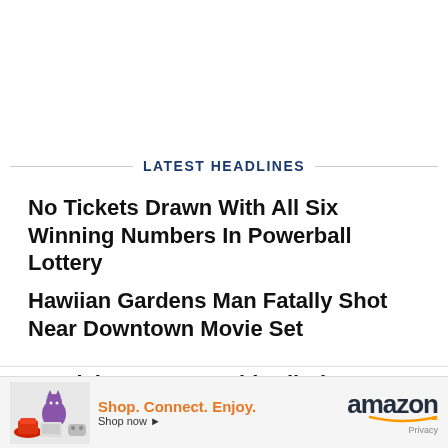LATEST HEADLINES
No Tickets Drawn With All Six Winning Numbers In Powerball Lottery
Hawiian Gardens Man Fatally Shot Near Downtown Movie Set
No Tickets Drawn With All Six Winning Numbers In Powerball Lottery
[Figure (infographic): Amazon advertisement banner with illustrated shopping items, tagline 'Shop. Connect. Enjoy. Shop now', Amazon logo with smile, and Privacy text]